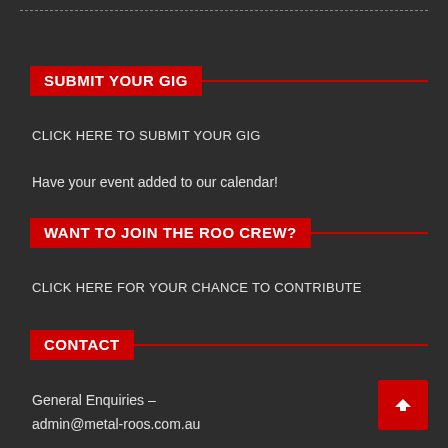SUBMIT YOUR GIG
CLICK HERE TO SUBMIT YOUR GIG
Have your event added to our calendar!
WANT TO JOIN THE ROO CREW?
CLICK HERE FOR YOUR CHANCE TO CONTRIBUTE
CONTACT
General Enquiries –
admin@metal-roos.com.au
Submit News –
news@metal-roos.com.au
Submit Album for Review –